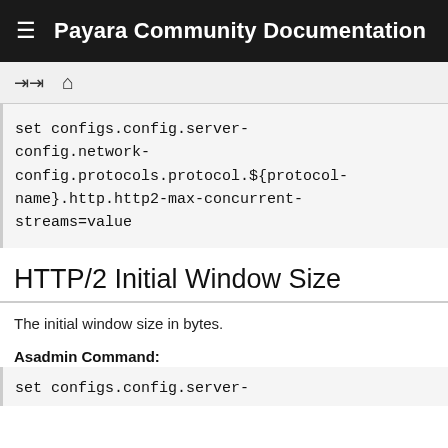Payara Community Documentation
set configs.config.server-config.network-config.protocols.protocol.${protocol-name}.http.http2-max-concurrent-streams=value
HTTP/2 Initial Window Size
The initial window size in bytes.
Asadmin Command:
set configs.config.server-